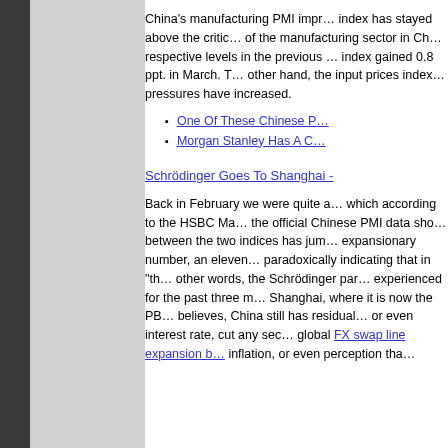China's manufacturing PMI improved... index has stayed above the critical... of the manufacturing sector in Ch... respective levels in the previous ... index gained 0.8 ppt. in March. T... other hand, the input prices index... pressures have increased.
One Of These Chinese P...
Morgan Stanley Has A C...
Schrödinger Goes To Shanghai -
Back in February we were quite a... which according to the HSBC Ma... the official Chinese PMI data sho... between the two indices has jum... expansionary number, an eleven... paradoxically indicating that in "th... other words, the Schrödinger par... experienced for the past three m... Shanghai, where it is now the PB... believes, China still has residual... or even interest rate, cut any sec... global FX swap line expansion b... inflation, or even perception that...